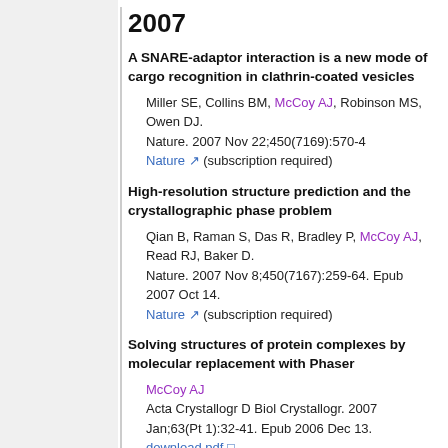2007
A SNARE-adaptor interaction is a new mode of cargo recognition in clathrin-coated vesicles
Miller SE, Collins BM, McCoy AJ, Robinson MS, Owen DJ.
Nature. 2007 Nov 22;450(7169):570-4
Nature (subscription required)
High-resolution structure prediction and the crystallographic phase problem
Qian B, Raman S, Das R, Bradley P, McCoy AJ, Read RJ, Baker D.
Nature. 2007 Nov 8;450(7167):259-64. Epub 2007 Oct 14.
Nature (subscription required)
Solving structures of protein complexes by molecular replacement with Phaser
McCoy AJ
Acta Crystallogr D Biol Crystallogr. 2007 Jan;63(Pt 1):32-41. Epub 2006 Dec 13.
download pdf